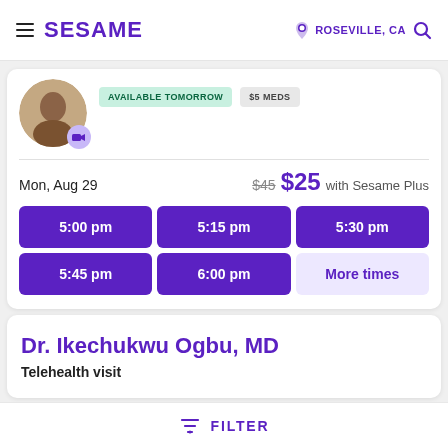SESAME | ROSEVILLE, CA
[Figure (photo): Doctor profile photo with video camera badge, AVAILABLE TOMORROW and $5 MEDS badges]
Mon, Aug 29   $45  $25 with Sesame Plus
5:00 pm
5:15 pm
5:30 pm
5:45 pm
6:00 pm
More times
Dr. Ikechukwu Ogbu, MD
Telehealth visit
FILTER